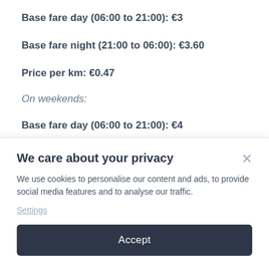Base fare day (06:00 to 21:00): €3
Base fare night (21:00 to 06:00): €3.60
Price per km: €0.47
On weekends:
Base fare day (06:00 to 21:00): €4
We care about your privacy
We use cookies to personalise our content and ads, to provide social media features and to analyse our traffic.
Settings
Accept